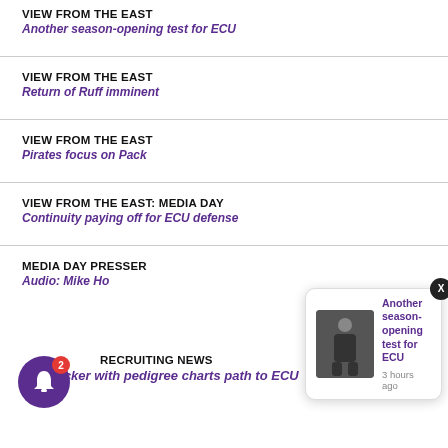VIEW FROM THE EAST
Another season-opening test for ECU
VIEW FROM THE EAST
Return of Ruff imminent
VIEW FROM THE EAST
Pirates focus on Pack
VIEW FROM THE EAST: MEDIA DAY
Continuity paying off for ECU defense
MEDIA DAY PRESSER
Audio: Mike Ho
RECRUITING NEWS
Linebacker with pedigree charts path to ECU
[Figure (screenshot): Notification popup showing 'Another season-opening test for ECU' with a football player thumbnail and '3 hours ago' timestamp, plus a purple bell icon with red badge showing '2']